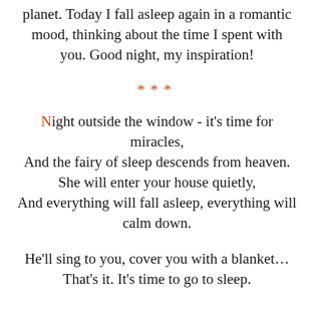planet. Today I fall asleep again in a romantic mood, thinking about the time I spent with you. Good night, my inspiration!
***
Night outside the window - it's time for miracles,
And the fairy of sleep descends from heaven.
She will enter your house quietly,
And everything will fall asleep, everything will calm down.
He'll sing to you, cover you with a blanket…
That's it. It's time to go to sleep.